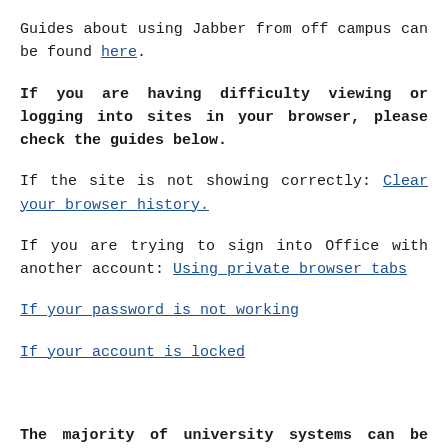Guides about using Jabber from off campus can be found here.
If you are having difficulty viewing or logging into sites in your browser, please check the guides below.
If the site is not showing correctly: Clear your browser history.
If you are trying to sign into Office with another account: Using private browser tabs
If your password is not working
If your account is locked
The majority of university systems can be access